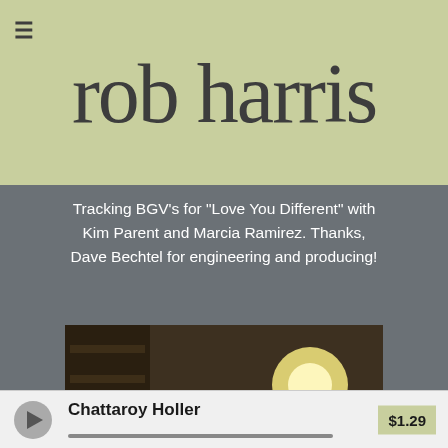rob harris
Tracking BGV's for "Love You Different" with Kim Parent and Marcia Ramirez. Thanks, Dave Bechtel for engineering and producing!
[Figure (photo): Person sitting and playing an acoustic guitar indoors, wearing headphones and dark clothing, with guitars visible in the background]
Chattaroy Holler  $1.29